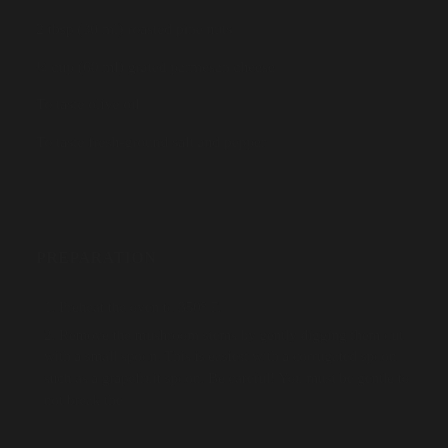2 tbsp (30 ml) roasted pine nuts
¼ cup (60 ml) grated parmesan cheese
To taste olive oil
To taste fresh-ground salt and pepper
PREPARATION
1. Preheat the oven to 350° F.
2. Remove the mushroom stems by gently digging them out with a small spoon. This is easiest with a corrugated spoon such as a grapefruit spoon. Be careful! You must be gentle to not break the